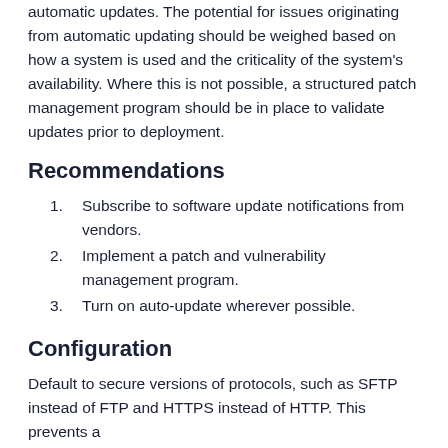automatic updates. The potential for issues originating from automatic updating should be weighed based on how a system is used and the criticality of the system's availability. Where this is not possible, a structured patch management program should be in place to validate updates prior to deployment.
Recommendations
Subscribe to software update notifications from vendors.
Implement a patch and vulnerability management program.
Turn on auto-update wherever possible.
Configuration
Default to secure versions of protocols, such as SFTP instead of FTP and HTTPS instead of HTTP. This prevents a